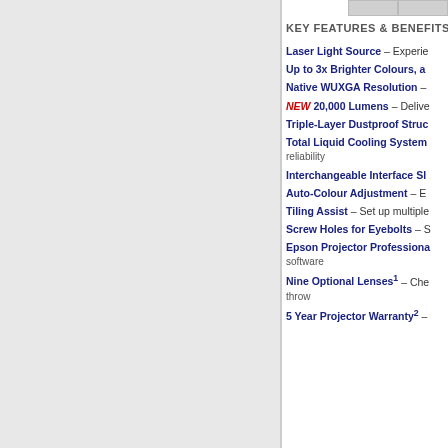KEY FEATURES & BENEFITS
Laser Light Source – Experie…
Up to 3x Brighter Colours, a…
Native WUXGA Resolution –…
NEW 20,000 Lumens – Delive…
Triple-Layer Dustproof Struc…
Total Liquid Cooling System… reliability
Interchangeable Interface Sl…
Auto-Colour Adjustment – E…
Tiling Assist – Set up multiple…
Screw Holes for Eyebolts – S…
Epson Projector Professional… software
Nine Optional Lenses¹ – Cho… throw
5 Year Projector Warranty² –…